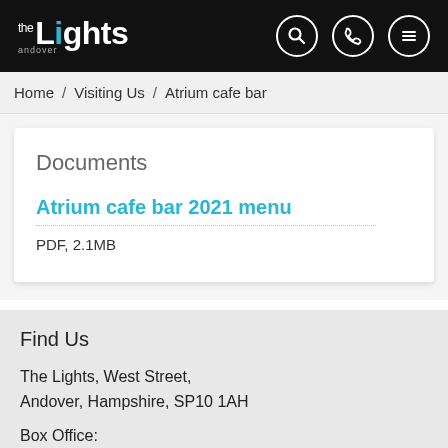The Lights Andover — Search, Phone, Menu
Home / Visiting Us / Atrium cafe bar
Documents
Atrium cafe bar 2021 menu
PDF, 2.1MB
Find Us
The Lights, West Street, Andover, Hampshire, SP10 1AH
Box Office:
01264 368368